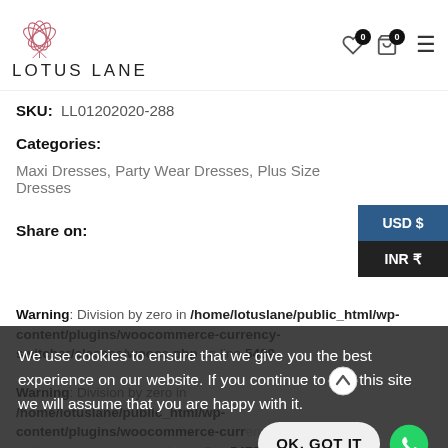[Figure (logo): Lotus Lane logo with lotus flower icon and LOTUS LANE text]
SKU: LL01202020-288
Categories:
Maxi Dresses, Party Wear Dresses, Plus Size Dresses
Share on:
USD $
INR ₹
Warning: Division by zero in /home/lotuslane/public_html/wp-content/plugins/woocommerce-currency-switcher/classes/woocs.php on line 5489
Warning: Division by zero in /home/lotuslane/public_html/wp-content/plugins/woocommerce-currency-switcher/classes/woocs.php on line 5472
We use cookies to ensure that we give you the best experience on our website. If you continue to use this site we will assume that you are happy with it.
OK, GOT IT